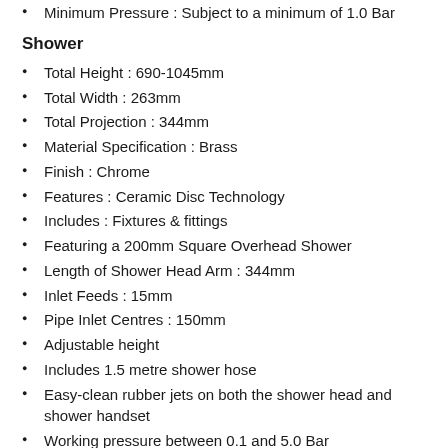Minimum Pressure : Subject to a minimum of 1.0 Bar
Shower
Total Height : 690-1045mm
Total Width : 263mm
Total Projection : 344mm
Material Specification : Brass
Finish : Chrome
Features : Ceramic Disc Technology
Includes : Fixtures & fittings
Featuring a 200mm Square Overhead Shower
Length of Shower Head Arm : 344mm
Inlet Feeds : 15mm
Pipe Inlet Centres : 150mm
Adjustable height
Includes 1.5 metre shower hose
Easy-clean rubber jets on both the shower head and shower handset
Working pressure between 0.1 and 5.0 Bar
Easy installation